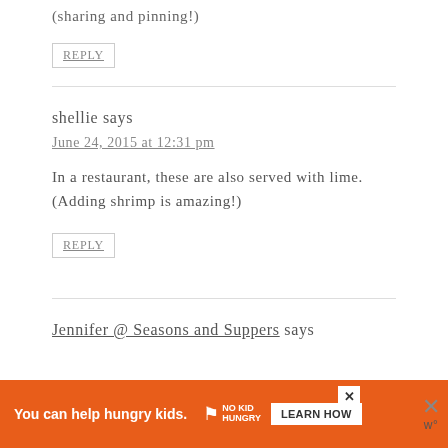(sharing and pinning!)
REPLY
shellie says
June 24, 2015 at 12:31 pm
In a restaurant, these are also served with lime. (Adding shrimp is amazing!)
REPLY
Jennifer @ Seasons and Suppers says
[Figure (infographic): Orange advertisement banner: 'You can help hungry kids.' with No Kid Hungry logo and 'LEARN HOW' button]